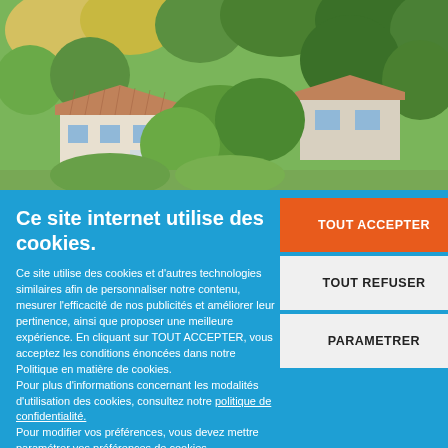[Figure (photo): Aerial view of a French countryside house with terracotta roof tiles, surrounded by lush green trees and vegetation, viewed from above.]
Ce site internet utilise des cookies.
Ce site utilise des cookies et d'autres technologies similaires afin de personnaliser notre contenu, mesurer l'efficacité de nos publicités et améliorer leur pertinence, ainsi que proposer une meilleure expérience. En cliquant sur TOUT ACCEPTER, vous acceptez les conditions énoncées dans notre Politique en matière de cookies.
Pour plus d'informations concernant les modalités d'utilisation des cookies, consultez notre politique de confidentialité.
Pour modifier vos préférences, vous devez mettre paramétrer vos préférences de cookies.